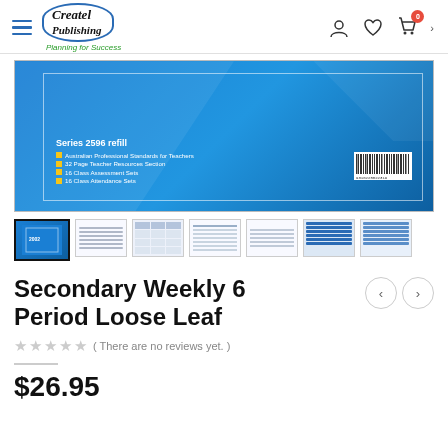Createl Publishing – Planning for Success
[Figure (photo): Product image of Secondary Weekly 6 Period Loose Leaf planner – blue cover showing Series 2596 refill with bullet points and barcode]
[Figure (photo): Thumbnail gallery with 7 product images]
Secondary Weekly 6 Period Loose Leaf
( There are no reviews yet. )
$26.95